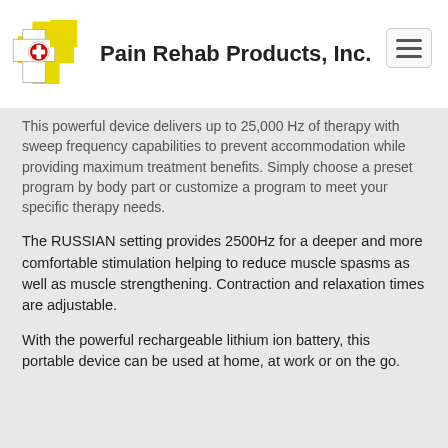[Figure (logo): Pain Rehab Products Inc. logo with yellow cross and red circle cross symbol]
Pain Rehab Products, Inc.
This powerful device delivers up to 25,000 Hz of therapy with sweep frequency capabilities to prevent accommodation while providing maximum treatment benefits. Simply choose a preset program by body part or customize a program to meet your specific therapy needs.
The RUSSIAN setting provides 2500Hz for a deeper and more comfortable stimulation helping to reduce muscle spasms as well as muscle strengthening. Contraction and relaxation times are adjustable.
With the powerful rechargeable lithium ion battery, this portable device can be used at home, at work or on the go.